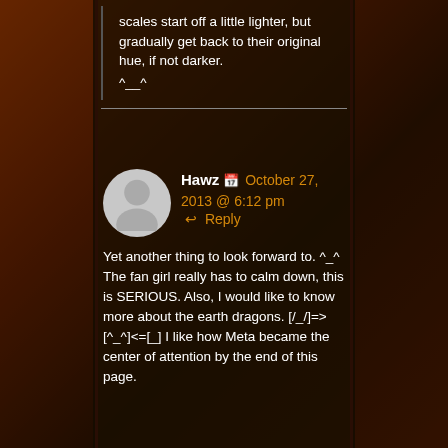scales start off a little lighter, but gradually get back to their original hue, if not darker. ^__^
Hawz  📅 October 27, 2013 @ 6:12 pm  ↩ Reply
Yet another thing to look forward to. ^_^ The fan girl really has to calm down, this is SERIOUS. Also, I would like to know more about the earth dragons. [/_/]=>[^_^]<=[_] I like how Meta became the center of attention by the end of this page.